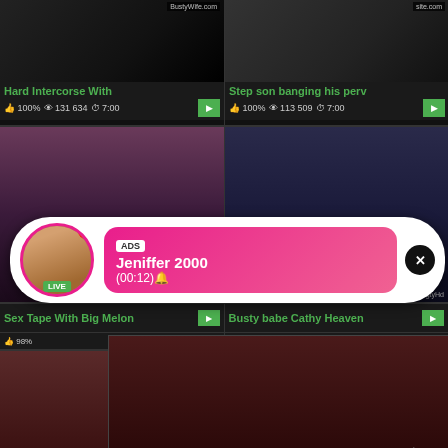[Figure (screenshot): Adult video thumbnail grid with overlaid advertisements]
Hard Intercorse With
100%  131 634  7:00
Step son banging his perv
100%  113 509  7:00
ADS
Jeniffer 2000
(00:12)
LIVE
Sex Tape With Big Melon
98%
Busty babe Cathy Heaven
WHAT DO YOU WANT?
WATCH
Online
Cumming, ass fucking, squirt or...
• ADS